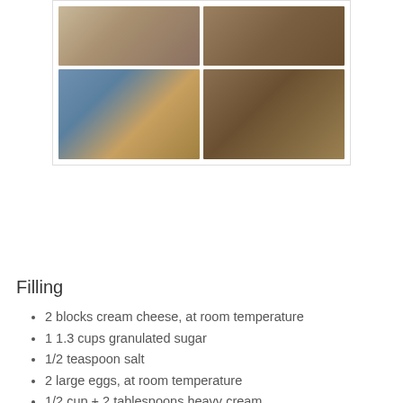[Figure (photo): Four-panel food photo collage showing cheesecake preparation steps: top-left shows a bag with crumbs, top-right shows a pie dish with crumb crust, bottom-left shows a ball of dough in a blue bowl, bottom-right shows a close-up of the crumb crust in a glass pie dish.]
Filling
2 blocks cream cheese, at room temperature
1 1.3 cups granulated sugar
1/2 teaspoon salt
2 large eggs, at room temperature
1/2 cup + 2 tablespoons heavy cream
1. Preheat oven to 325 F. Fill tea kettle with water and bring to a boil (this water will be used when cheesecake is in the oven).
2. Beat together cream cheese and sugar until fluffy, about 5 minutes. Beat in salt until well incorporated. Add eggs, one at a time, beating until very well